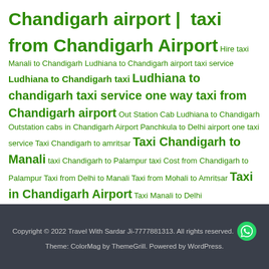Chandigarh airport | taxi from Chandigarh Airport Hire taxi Manali to Chandigarh Ludhiana to Chandigarh airport taxi service Ludhiana to Chandigarh taxi Ludhiana to chandigarh taxi service one way taxi from Chandigarh airport Out Station Cab Ludhiana to Chandigarh Outstation cabs in Chandigarh Airport Panchkula to Delhi airport one taxi service Taxi Chandigarh to amritsar Taxi Chandigarh to Manali taxi Chandigarh to Palampur taxi Cost from Chandigarh to Palampur Taxi from Delhi to Manali Taxi from Mohali to Amritsar Taxi in Chandigarh Airport Taxi Manali to Delhi
Copyright © 2022 Travel With Sardar Ji-7777881313. All rights reserved. Theme: ColorMag by ThemeGrill. Powered by WordPress.